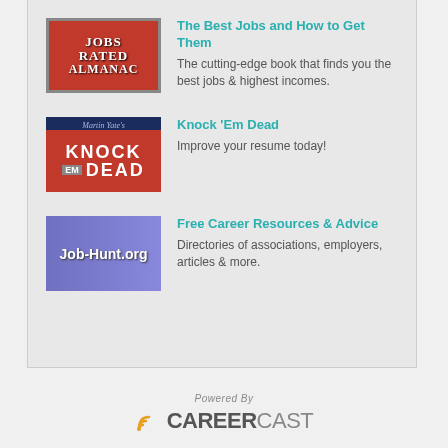[Figure (illustration): Jobs Rated Almanac book cover thumbnail with red border on grey background]
The Best Jobs and How to Get Them
The cutting-edge book that finds you the best jobs & highest incomes.
[Figure (illustration): Knock Em Dead book cover thumbnail with dark blue and red background]
Knock 'Em Dead
Improve your resume today!
[Figure (illustration): Job-Hunt.org website thumbnail with blue/purple background]
Free Career Resources & Advice
Directories of associations, employers, articles & more.
Powered By
[Figure (logo): CareerCast logo with signal icon and CAREER in dark grey and CAST in light grey]